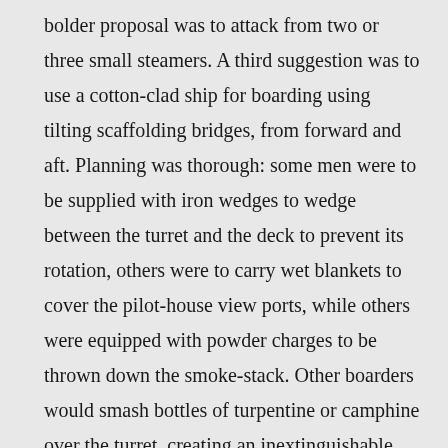bolder proposal was to attack from two or three small steamers. A third suggestion was to use a cotton-clad ship for boarding using tilting scaffolding bridges, from forward and aft. Planning was thorough: some men were to be supplied with iron wedges to wedge between the turret and the deck to prevent its rotation, others were to carry wet blankets to cover the pilot-house view ports, while others were equipped with powder charges to be thrown down the smoke-stack. Other boarders would smash bottles of turpentine or camphine over the turret, creating an inextinguishable fire. Meanwhile, more boarders armed with sulphuretted cartridges would try to smoke the enemy crewmen out.